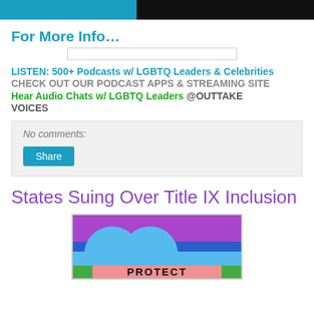[Figure (photo): Top banner image with dark background and teal/blue section on the left]
For More Info…
[Figure (other): Search input bar]
LISTEN: 500+ Podcasts w/ LGBTQ Leaders & Celebrities
CHECK OUT OUR PODCAST APPS & STREAMING SITE
Hear Audio Chats w/ LGBTQ Leaders @OUTTAKE VOICES
No comments:
Share
States Suing Over Title IX Inclusion
[Figure (illustration): Colorful LGBTQ protection graphic with purple, blue, and pink background and two circles, with PROTECT text at bottom]